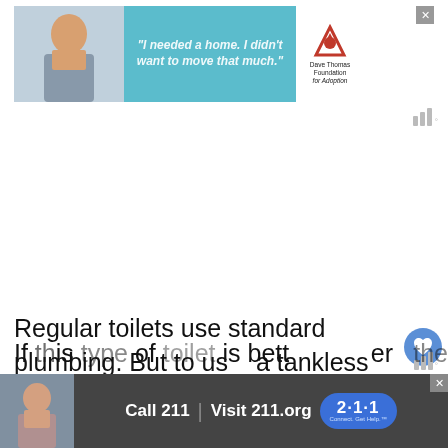[Figure (advertisement): Top banner ad for Dave Thomas Foundation for Adoption featuring a boy and teal background with text and logo]
Regular toilets use standard plumbing. But to use a tankless toilet in your home, you'll need to upgrade the plumbing at an additional expense.
[Figure (advertisement): Bottom banner ad: Call 211 | Visit 211.org with 2·1·1 badge logo and child photo]